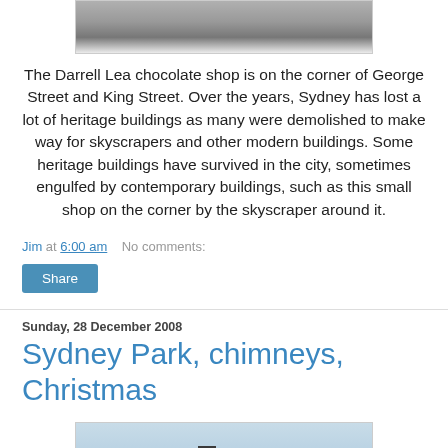[Figure (photo): Photo of a crowd of people crossing a street, partial view at top of page]
The Darrell Lea chocolate shop is on the corner of George Street and King Street. Over the years, Sydney has lost a lot of heritage buildings as many were demolished to make way for skyscrapers and other modern buildings. Some heritage buildings have survived in the city, sometimes engulfed by contemporary buildings, such as this small shop on the corner by the skyscraper around it.
Jim at 6:00 am    No comments:
Share
Sunday, 28 December 2008
Sydney Park, chimneys, Christmas
[Figure (photo): Photo of chimneys against a blue sky, partially visible at the bottom of the page]